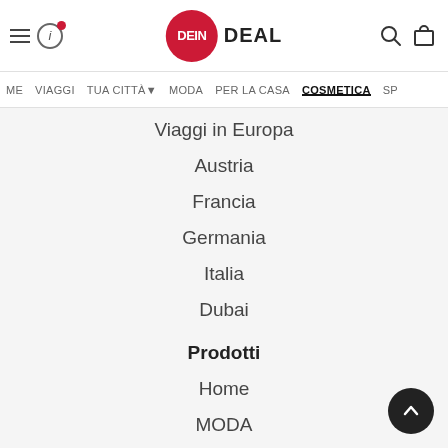DEIN DEAL – navigation header with hamburger menu, info icon, logo, search and cart icons
ME  VIAGGI  TUA CITTÀ  MODA  PER LA CASA  COSMETICA  SP
Viaggi in Europa
Austria
Francia
Germania
Italia
Dubai
Prodotti
Home
MODA
PER LA CASA
COSMETICA